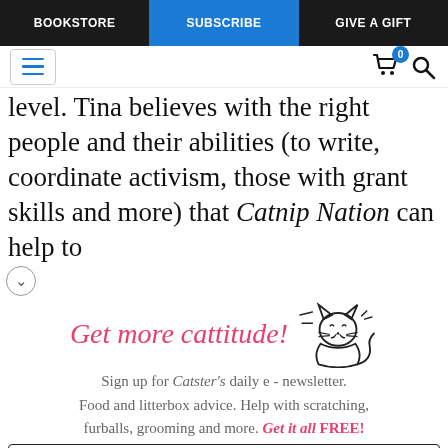BOOKSTORE | SUBSCRIBE | GIVE A GIFT
[Figure (screenshot): Website navigation header with hamburger menu icon, cart icon with badge showing 0, and search icon]
level. Tina believes with the right people and their abilities (to write, coordinate activism, those with grant skills and more) that Catnip Nation can help to
[Figure (illustration): Promotional signup box: 'Get more cattitude!' with cartoon cat illustration, newsletter signup text for Catster's daily e-newsletter, email input field, and YES! SIGN ME UP button]
Sign up for Catster's daily e - newsletter. Food and litterbox advice. Help with scratching, furballs, grooming and more. Get it all FREE!